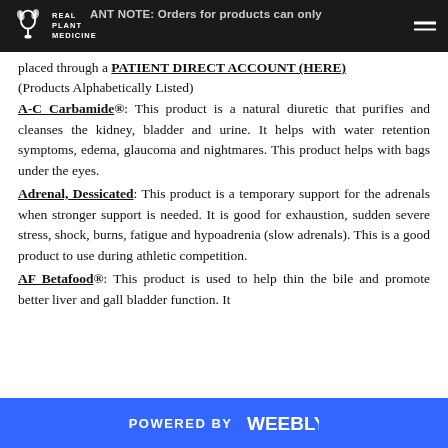IMPORTANT NOTE: Orders for products can only be placed through a PATIENT DIRECT ACCOUNT (HERE)
(Products Alphabetically Listed)
A-C Carbamide®: This product is a natural diuretic that purifies and cleanses the kidney, bladder and urine. It helps with water retention symptoms, edema, glaucoma and nightmares. This product helps with bags under the eyes.
Adrenal, Dessicated: This product is a temporary support for the adrenals when stronger support is needed. It is good for exhaustion, sudden severe stress, shock, burns, fatigue and hypoadrenia (slow adrenals). This is a good product to use during athletic competition.
AF Betafood®: This product is used to help thin the bile and promote better liver and gall bladder function. It
POWERED BY weebly